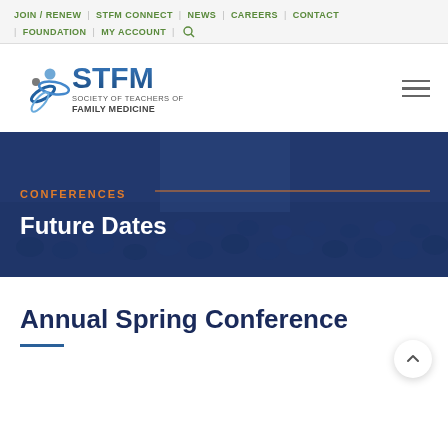JOIN / RENEW | STFM CONNECT | NEWS | CAREERS | CONTACT | FOUNDATION | MY ACCOUNT
[Figure (logo): STFM - Society of Teachers of Family Medicine logo with blue circular figure and blue gradient text]
[Figure (photo): Audience at a conference hall viewed from behind with a banner overlay showing CONFERENCES and Future Dates]
Annual Spring Conference